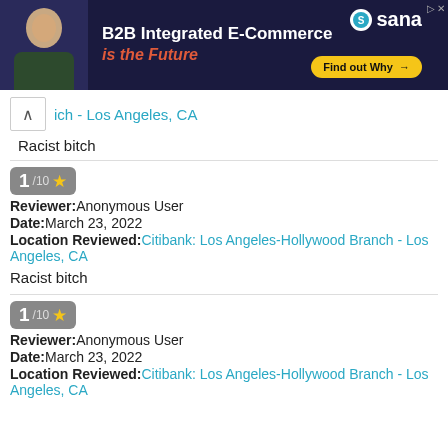[Figure (illustration): Advertisement banner for Sana: B2B Integrated E-Commerce is the Future, with Find out Why button]
ich - Los Angeles, CA
Racist bitch
1/10 ★
Reviewer: Anonymous User
Date: March 23, 2022
Location Reviewed: Citibank: Los Angeles-Hollywood Branch - Los Angeles, CA
Racist bitch
1/10 ★
Reviewer: Anonymous User
Date: March 23, 2022
Location Reviewed: Citibank: Los Angeles-Hollywood Branch - Los Angeles, CA